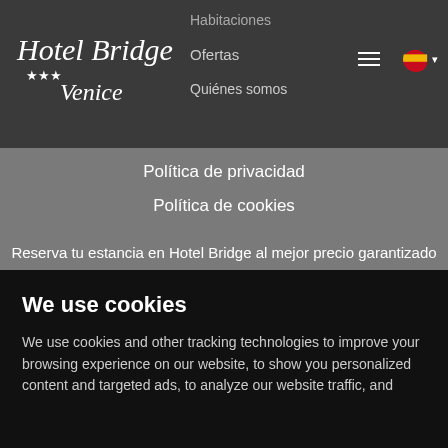[Figure (logo): Hotel Bridge Venice logo with stars on dark background]
Habitaciones
Ofertas
Quiénes somos
Política de privacidad
Política de cookies
Reserva tu estancia en Hotel Bridge al mejor precio garantizado
RESERVA AHORA
We use cookies
We use cookies and other tracking technologies to improve your browsing experience on our website, to show you personalized content and targeted ads, to analyze our website traffic, and